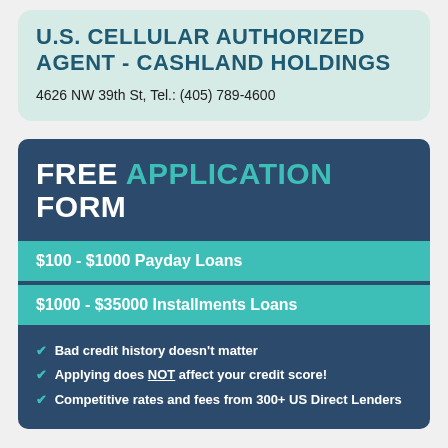U.S. CELLULAR AUTHORIZED AGENT - CASHLAND HOLDINGS
4626 NW 39th St, Tel.: (405) 789-4600
FREE APPLICATION FORM
$100 - $1000 Payday Loans
$1000 - $35000 Installments Loans
Bad credit history doesn't matter
Applying does NOT affect your credit score!
Competitive rates and fees from 300+ US Direct Lenders